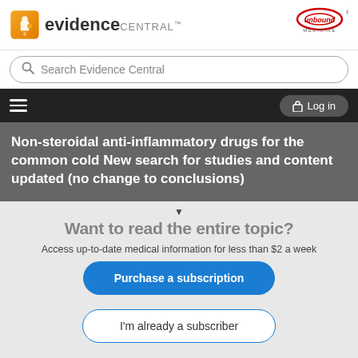[Figure (logo): Evidence Central logo with orange puzzle piece icon and 'evidence CENTRAL' text, plus Unbound Medicine logo on the right]
[Figure (other): Search bar with 'Search Evidence Central' placeholder]
[Figure (other): Dark navigation bar with hamburger menu and Log in button]
Non-steroidal anti-inflammatory drugs for the common cold New search for studies and content updated (no change to conclusions)
Want to read the entire topic?
Access up-to-date medical information for less than $2 a week
Purchase a subscription
I'm already a subscriber
Browse sample topics